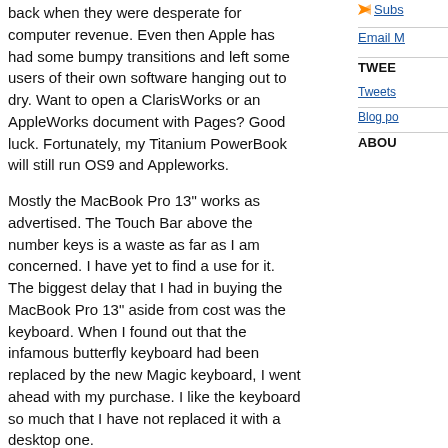back when they were desperate for computer revenue. Even then Apple has had some bumpy transitions and left some users of their own software hanging out to dry. Want to open a ClarisWorks or an AppleWorks document with Pages? Good luck. Fortunately, my Titanium PowerBook will still run OS9 and Appleworks.
Mostly the MacBook Pro 13" works as advertised. The Touch Bar above the number keys is a waste as far as I am concerned. I have yet to find a use for it. The biggest delay that I had in buying the MacBook Pro 13" aside from cost was the keyboard. When I found out that the infamous butterfly keyboard had been replaced by the new Magic keyboard, I went ahead with my purchase. I like the keyboard so much that I have not replaced it with a desktop one.
I also particularly like the way the MacBook works with my attached large Dell monitor. Things wake up the way that I left them which is sometimes not the case in the Windows world. The touch ID seems infallible so far and it is a good addition to the system.
When I brought up my new MacBook, I made the decision to do clean installs of all my software and not drag over everything that had found its way onto my Mac Mini in the last eight years.
Subscribe
Email M
TWEE
Tweets
Blog po
ABOU